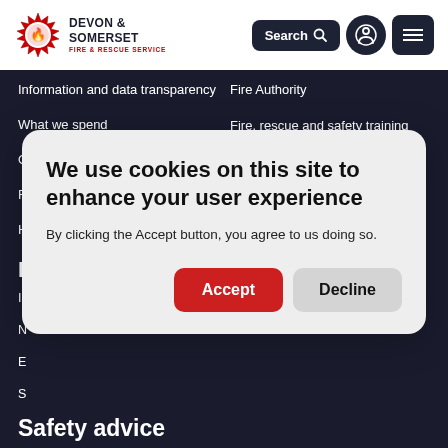[Figure (logo): Devon & Somerset Fire & Rescue Service logo with red badge/emblem on left and text on right]
Information and data transparency
Fire Authority
What we spend
Fire, rescue and safety training (Red One) [external link]
Our performance
Firefighters' pensions board
Request information
We use cookies on this site to enhance your user experience
By clicking the Accept button, you agree to us doing so.
Accept
Decline
Safety advice